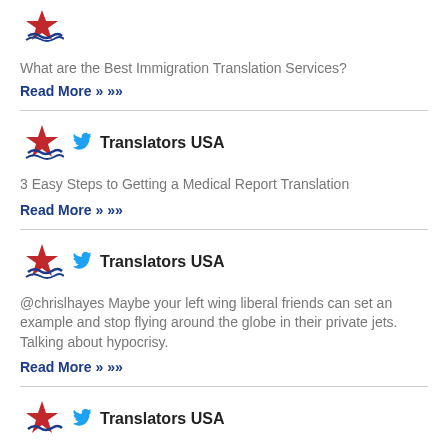[Figure (logo): Translators USA star logo (partial, top of page)]
What are the Best Immigration Translation Services?
Read More »»
[Figure (logo): Translators USA star logo with Twitter bird icon and brand name 'Translators USA']
3 Easy Steps to Getting a Medical Report Translation
Read More »»
[Figure (logo): Translators USA star logo with Twitter bird icon and brand name 'Translators USA']
@chrislhayes Maybe your left wing liberal friends can set an example and stop flying around the globe in their private jets. Talking about hypocrisy.
Read More »»
[Figure (logo): Translators USA star logo with Twitter bird icon and brand name 'Translators USA' (partial, bottom of page)]